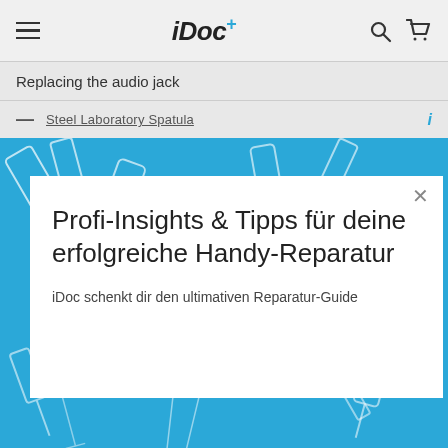iDoc+
Replacing the audio jack
Steel Laboratory Spatula
[Figure (illustration): Blue background with white line-art illustrations of repair tools including spatulas, spudgers, and other phone repair instruments]
Profi-Insights & Tipps für deine erfolgreiche Handy-Reparatur
iDoc schenkt dir den ultimativen Reparatur-Guide